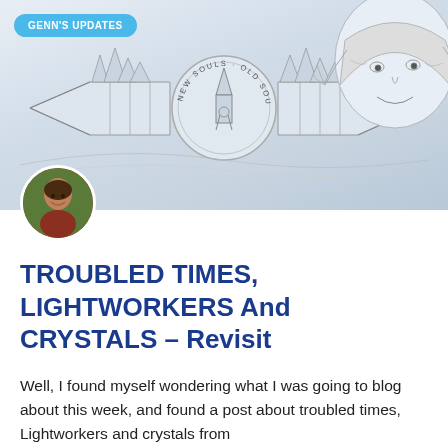[Figure (illustration): Header illustration showing crystal wands/points pointing left and right with a circular medallion in the center reading 'New Souls Old Soul', and a line drawing of an elderly woman's face in the upper right, sketch/line art style on light grey background]
GENN'S UPDATES
[Figure (photo): Circular avatar photo of a smiling woman with dark hair, outdoors background]
TROUBLED TIMES, LIGHTWORKERS And CRYSTALS – Revisit
Well, I found myself wondering what I was going to blog about this week, and found a post about troubled times, Lightworkers and crystals from